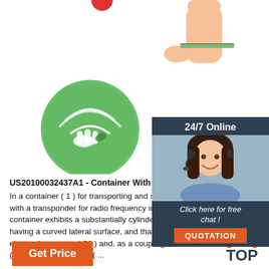[Figure (photo): Photo of a hand holding a thin green NFC/RFID disc tag between fingers, and below it a green circular NFC badge with wireless signal and hand icon]
[Figure (photo): 24/7 Online chat widget showing a woman with headset smiling, with 'Click here for free chat!' text and an orange QUOTATION button]
US20100032437A1 - Container With Transponder -
In a container ( 1 ) for transporting and storing substances, provided with a transponder for radio frequency identification, provided that the container exhibits a substantially cylinder-shaped main section ( 12 ) having a curved lateral surface, and that the transponder includes an electronic memory ( 21 ) and, as a coupling element, an antenna coil ( 22 ), the antenna coil ( ...
[Figure (other): Orange 'Get Price' button at bottom left]
[Figure (other): TOP icon with orange dots at bottom right]